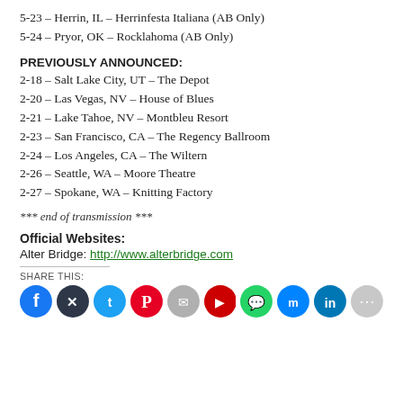5-23 – Herrin, IL – Herrinfesta Italiana (AB Only)
5-24 – Pryor, OK – Rocklahoma (AB Only)
PREVIOUSLY ANNOUNCED:
2-18 – Salt Lake City, UT – The Depot
2-20 – Las Vegas, NV – House of Blues
2-21 – Lake Tahoe, NV – Montbleu Resort
2-23 – San Francisco, CA – The Regency Ballroom
2-24 – Los Angeles, CA – The Wiltern
2-26 – Seattle, WA – Moore Theatre
2-27 – Spokane, WA – Knitting Factory
*** end of transmission ***
Official Websites:
Alter Bridge: http://www.alterbridge.com
SHARE THIS:
[Figure (infographic): Row of social media share icon circles: Facebook (blue), Twitter/X (dark), Twitter (light blue), Pinterest (red), email/other (grey), YouTube/email (red), WhatsApp (green), Facebook messenger (blue), LinkedIn (blue), more (grey)]